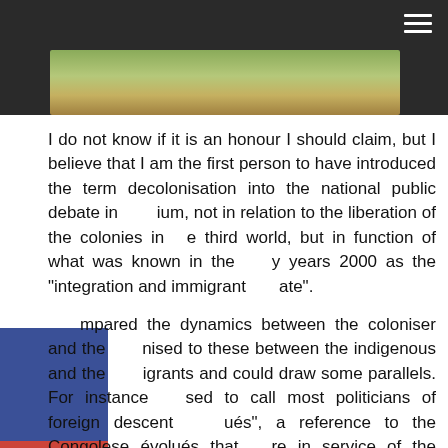[Figure (photo): Dark header bar with a landscape/outdoor photo strip at the bottom and a hamburger menu icon in the top-right corner]
I do not know if it is an honour I should claim, but I believe that I am the first person to have introduced the term decolonisation into the national public debate in [Belg]ium, not in relation to the liberation of the colonies in [th]e third world, but in function of what was known in the [earl]y years 2000 as the "integration and immigrant [deb]ate".
[I co]mpared the dynamics between the coloniser and the [colo]nised to these between the indigenous and the [imm]igrants and could draw some parallels. For instance [I u]sed to call most politicians of foreign descent ["évol]ués", a reference to the Congolese évolués that [we]re in service of the Belgian coloniser in Congo. My [app]roach was frowned upon back then and considered [an e]xaggeration and an outlandish claim. However, with